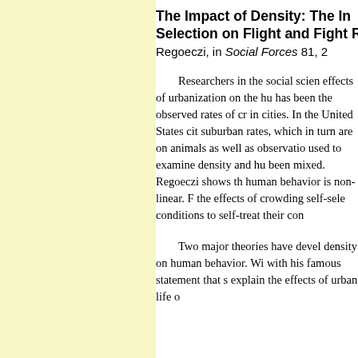The Impact of Density:  The Influence of Self-Selection on Flight and Fight Responses. Regoeczi, in Social Forces 81, 2...
Researchers in the social sciences have long examined the effects of urbanization on the human condition. Of particular concern has been the observed rates of crime and social withdrawal in cities. In the United States city rates exceed suburban rates, which in turn are... on animals as well as observations... used to examine density and human behavior... been mixed. Regoeczi shows that... human behavior is non-linear. Further... the effects of crowding self-selection... conditions to self-treat their conditions...
Two major theories have developed to explain the effects of density on human behavior. Wirth... with his famous statement that si... explain the effects of urban life o...